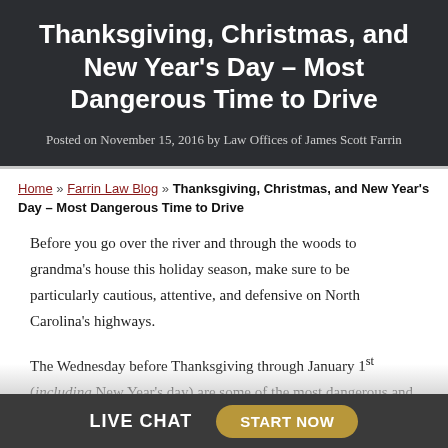Thanksgiving, Christmas, and New Year's Day – Most Dangerous Time to Drive
Posted on November 15, 2016 by Law Offices of James Scott Farrin
Home » Farrin Law Blog » Thanksgiving, Christmas, and New Year's Day – Most Dangerous Time to Drive
Before you go over the river and through the woods to grandma's house this holiday season, make sure to be particularly cautious, attentive, and defensive on North Carolina's highways.
The Wednesday before Thanksgiving through January 1st (including New Year's day) are some of the most dangerous and deadly times to be on the roads. In fact, Thanksgiving eve has become THE most dangerous night
LIVE CHAT   START NOW